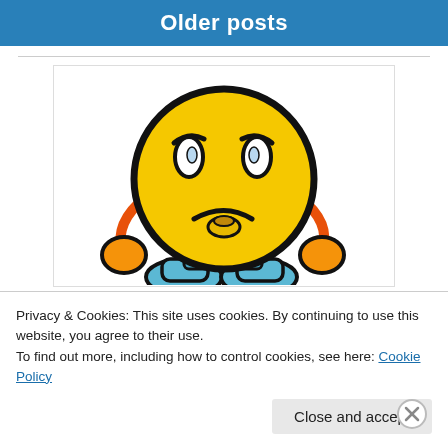Older posts
[Figure (illustration): A frustrated yellow emoji face character with headphones/ear accessories in orange, wearing a blue outfit, with a sad/worried expression, thick black outline cartoon style.]
Privacy & Cookies: This site uses cookies. By continuing to use this website, you agree to their use.
To find out more, including how to control cookies, see here: Cookie Policy
Close and accept